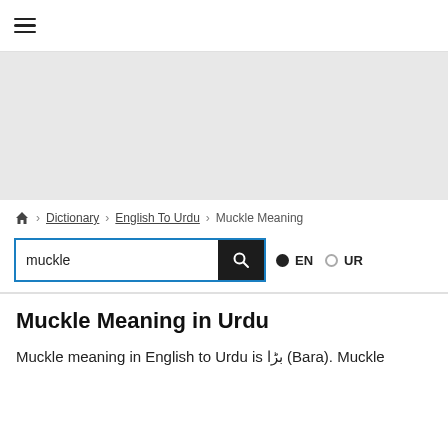☰
[Figure (other): Gray advertisement banner area]
🏠 › Dictionary › English To Urdu › Muckle Meaning
muckle [search box] EN UR
Muckle Meaning in Urdu
Muckle meaning in English to Urdu is بڑا (Bara). Muckle